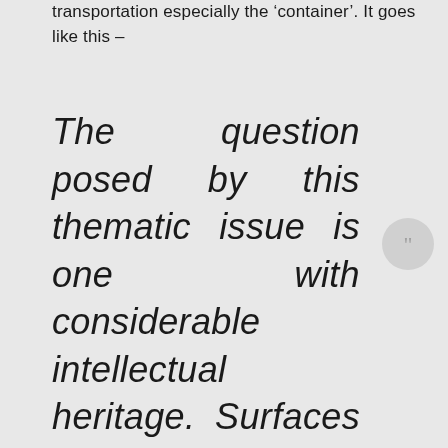transportation especially the 'container'. It goes like this –
The question posed by this thematic issue is one with considerable intellectual heritage. Surfaces have held a long-standing fascination for science, social science, and humanities scholars, whether figured as material